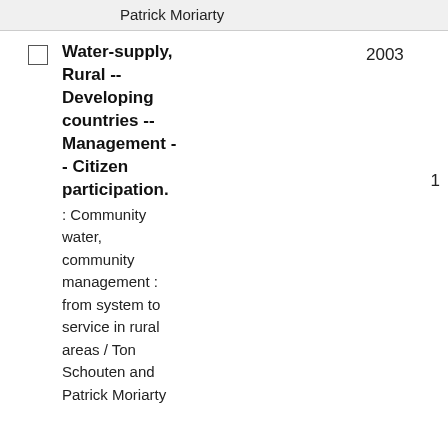Patrick Moriarty
Water-supply, Rural -- Developing countries -- Management -- Citizen participation. : Community water, community management : from system to service in rural areas / Ton Schouten and Patrick Moriarty 2003 1